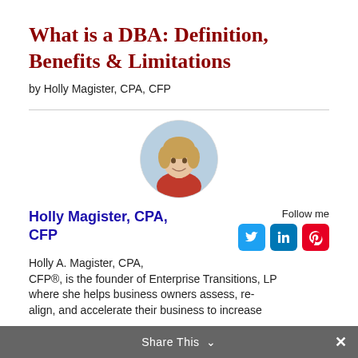What is a DBA: Definition, Benefits & Limitations
by Holly Magister, CPA, CFP
[Figure (photo): Circular profile photo of Holly Magister, a woman with short blonde hair wearing a red top, against a light blue background.]
Holly Magister, CPA, CFP
Follow me
Holly A. Magister, CPA, CFP®, is the founder of Enterprise Transitions, LP where she helps business owners assess, re-align, and accelerate their business to increase
Share This